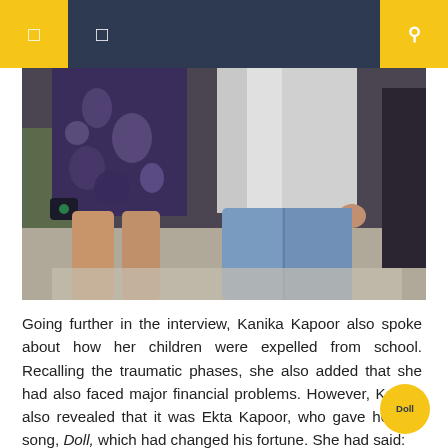navigation header with icons
[Figure (photo): Two people standing close together. On the left, a woman wearing a patterned/sequined mini dress and holding something, showing bare legs. On the right, a man wearing a white shirt and blue jeans. The photo is cropped at torso/legs level and taken indoors in low light.]
Going further in the interview, Kanika Kapoor also spoke about how her children were expelled from school. Recalling the traumatic phases, she also added that she had also faced major financial problems. However, Kanika also revealed that it was Ekta Kapoor, who gave her the song, Doll, which had changed his fortune. She had said: